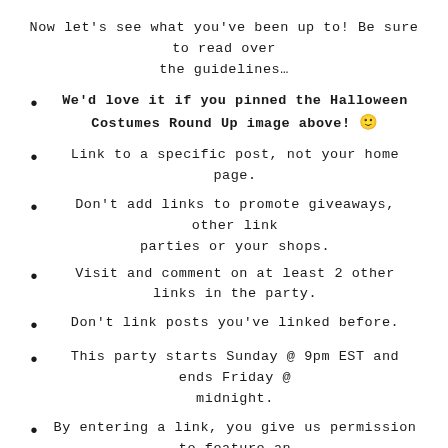Now let's see what you've been up to! Be sure to read over the guidelines…
We'd love it if you pinned the Halloween Costumes Round Up image above! 🙂
Link to a specific post, not your home page.
Don't add links to promote giveaways, other link parties or your shops.
Visit and comment on at least 2 other links in the party.
Don't link posts you've linked before.
This party starts Sunday @ 9pm EST and ends Friday @ midnight.
By entering a link, you give us permission to feature an image on our blogs. Proper credit and links will always be given.